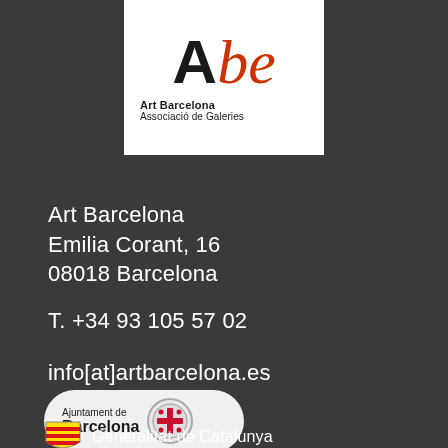[Figure (logo): Abe Art Barcelona Associació de Galeries logo — white background box with large 'A' in black and 'be' in italic red/orange, below which reads 'Art Barcelona' in bold and 'Associació de Galeries' in regular weight]
Art Barcelona
Emilia Corant, 16
08018 Barcelona
T. +34 93 105 57 02
info[at]artbarcelona.es
[Figure (logo): Ajuntament de Barcelona logo — pill-shaped light grey badge with text 'Ajuntament de Barcelona' on the left and the Barcelona city emblem (cross and bat) on the right]
[Figure (logo): Generalitat de Catalunya logo — four-striped heraldic shield emblem with text 'Generalitat de Catalunya']